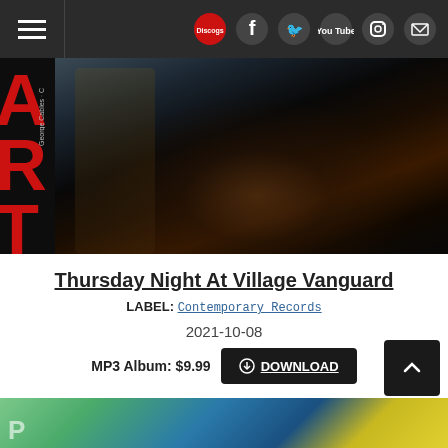Navigation header with hamburger menu, Discogs logo, Facebook, Twitter, YouTube, Instagram, and email icons
[Figure (photo): Album cover photo showing a saxophone player's hands on the instrument, with red text 'ART P' and 'George Cables' visible on the left side against a dark background]
Thursday Night At Village Vanguard
LABEL: Contemporary Records
2021-10-08
MP3 Album: $9.99  DOWNLOAD
[Figure (photo): Partial bottom image showing colorful album art with green, blue, and yellow colors]